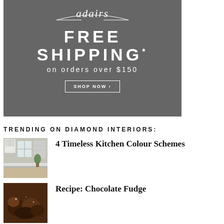[Figure (illustration): Adairs advertisement banner with dark grey background. Shows 'adairs' logo in italic with decorative arc lines, 'FREE SHIPPING*' in large bold letters, 'on orders over $150' in smaller spaced text, and a 'SHOP NOW ›' button with white border.]
TRENDING ON DIAMOND INTERIORS:
[Figure (photo): Thumbnail photo of a white kitchen interior with cabinetry, a window, and shelving.]
4 Timeless Kitchen Colour Schemes
[Figure (photo): Thumbnail photo of chocolate fudge, dark brown colors.]
Recipe: Chocolate Fudge